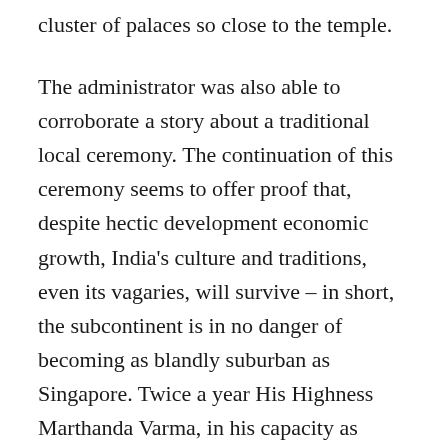cluster of palaces so close to the temple.
The administrator was also able to corroborate a story about a traditional local ceremony. The continuation of this ceremony seems to offer proof that, despite hectic development economic growth, India's culture and traditions, even its vagaries, will survive – in short, the subcontinent is in no danger of becoming as blandly suburban as Singapore. Twice a year His Highness Marthanda Varma, in his capacity as custodian of the Padmanabha temple, leads a procession that has to cross the runway of Trivandrum airport. The busy airport (with more than twenty international flights each day) is